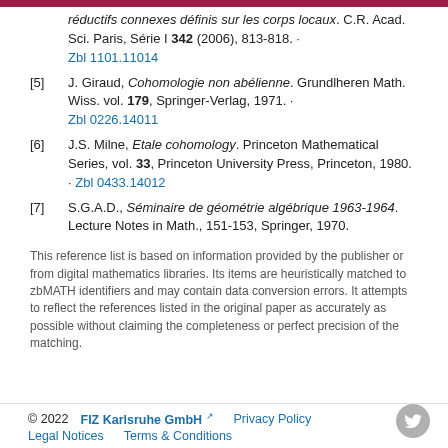[4] ... réductifs connexes définis sur les corps locaux. C.R. Acad. Sci. Paris, Série I 342 (2006), 813-818. · Zbl 1101.11014
[5] J. Giraud, Cohomologie non abélienne. Grundlheren Math. Wiss. vol. 179, Springer-Verlag, 1971. · Zbl 0226.14011
[6] J.S. Milne, Etale cohomology. Princeton Mathematical Series, vol. 33, Princeton University Press, Princeton, 1980. · Zbl 0433.14012
[7] S.G.A.D., Séminaire de géométrie algébrique 1963-1964. Lecture Notes in Math., 151-153, Springer, 1970.
This reference list is based on information provided by the publisher or from digital mathematics libraries. Its items are heuristically matched to zbMATH identifiers and may contain data conversion errors. It attempts to reflect the references listed in the original paper as accurately as possible without claiming the completeness or perfect precision of the matching.
© 2022   FIZ Karlsruhe GmbH   Privacy Policy   Legal Notices   Terms & Conditions